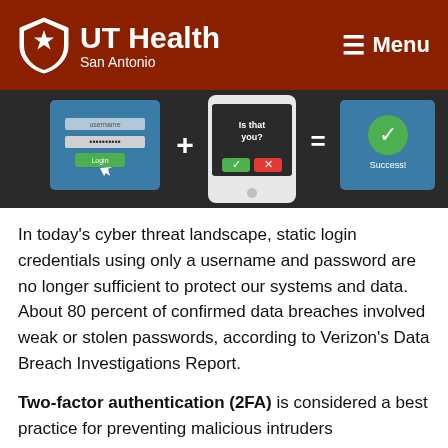UT Health San Antonio — Menu
[Figure (illustration): Two-factor authentication illustration showing a login screen with username/password, a plus sign, a smartphone asking 'Is that you?' with checkmark and X buttons, an equals sign, and a 'Success!' screen with a green checkmark.]
In today's cyber threat landscape, static login credentials using only a username and password are no longer sufficient to protect our systems and data. About 80 percent of confirmed data breaches involved weak or stolen passwords, according to Verizon's Data Breach Investigations Report.
Two-factor authentication (2FA) is considered a best practice for preventing malicious intruders